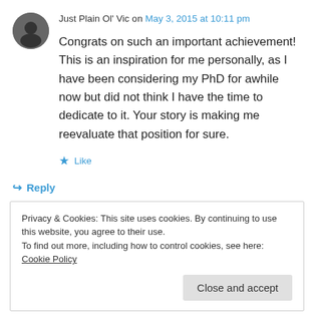[Figure (photo): Avatar image of user Just Plain Ol' Vic, dark silhouette icon on grey circular background]
Just Plain Ol' Vic on May 3, 2015 at 10:11 pm
Congrats on such an important achievement! This is an inspiration for me personally, as I have been considering my PhD for awhile now but did not think I have the time to dedicate to it. Your story is making me reevaluate that position for sure.
★ Like
↳ Reply
Privacy & Cookies: This site uses cookies. By continuing to use this website, you agree to their use.
To find out more, including how to control cookies, see here: Cookie Policy
Close and accept